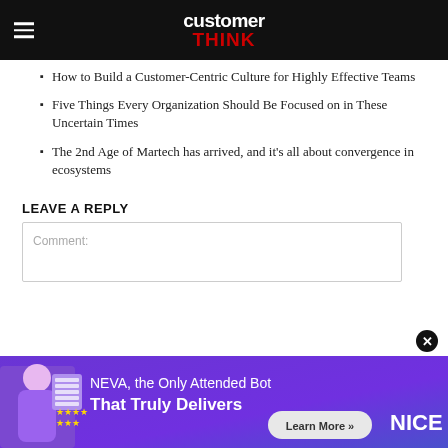customerTHINK
How to Build a Customer-Centric Culture for Highly Effective Teams
Five Things Every Organization Should Be Focused on in These Uncertain Times
The 2nd Age of Martech has arrived, and it's all about convergence in ecosystems
LEAVE A REPLY
Comment:
[Figure (infographic): Advertisement banner for NEVA, the Only Attended Bot That Truly Delivers, by NICE, with Learn More button]